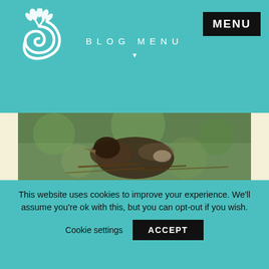BLOG MENU
[Figure (logo): Snail with leaf logo in white on teal background]
[Figure (photo): Close-up photograph of a bird (appears to be at a nest) with brown and green blurred background]
MARCH 6, 2017
LOVE TRUMPS HATE
How to Remain Environmentally Optimistic During This Presidency
Written By Kylie Barton
This website uses cookies to improve your experience. We'll assume you're ok with this, but you can opt-out if you wish.
Cookie settings   ACCEPT